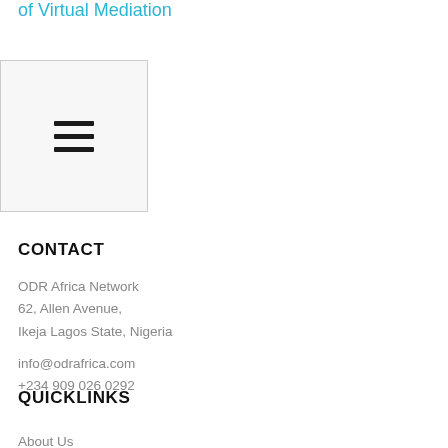of Virtual Mediation
[Figure (other): Hamburger menu icon with three horizontal lines inside a light gray bordered box]
CONTACT
ODR Africa Network
62, Allen Avenue,
Ikeja Lagos State, Nigeria

info@odrafrica.com
+234 909 026 0292
QUICKLINKS
About Us